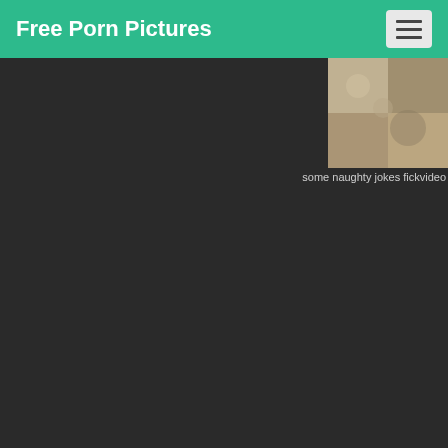Free Porn Pictures
[Figure (photo): Thumbnail image showing a textured surface, partially visible in upper right]
some naughty jokes fickvideo